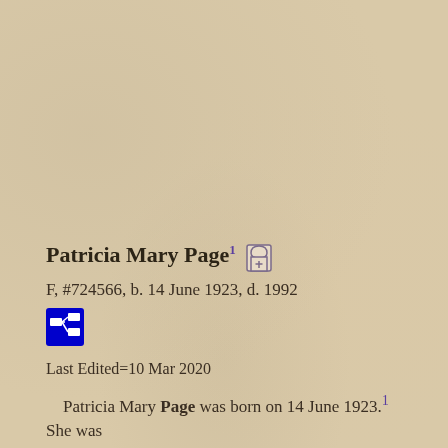Patricia Mary Page¹ 🪦
F, #724566, b. 14 June 1923, d. 1992
[Figure (other): Blue family tree / pedigree chart icon button]
Last Edited=10 Mar 2020
Patricia Mary Page was born on 14 June 1923.¹ She was